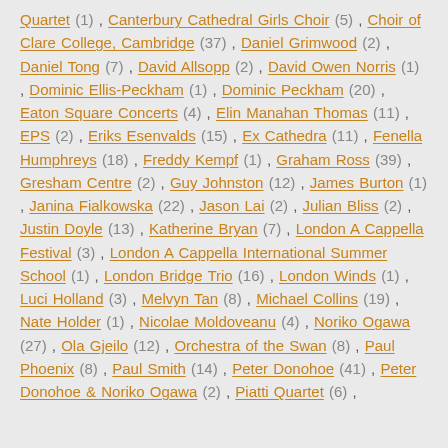Quartet (1) , Canterbury Cathedral Girls Choir (5) , Choir of Clare College, Cambridge (37) , Daniel Grimwood (2) , Daniel Tong (7) , David Allsopp (2) , David Owen Norris (1) , Dominic Ellis-Peckham (1) , Dominic Peckham (20) , Eaton Square Concerts (4) , Elin Manahan Thomas (11) , EPS (2) , Eriks Esenvalds (15) , Ex Cathedra (11) , Fenella Humphreys (18) , Freddy Kempf (1) , Graham Ross (39) , Gresham Centre (2) , Guy Johnston (12) , James Burton (1) , Janina Fialkowska (22) , Jason Lai (2) , Julian Bliss (2) , Justin Doyle (13) , Katherine Bryan (7) , London A Cappella Festival (3) , London A Cappella International Summer School (1) , London Bridge Trio (16) , London Winds (1) , Luci Holland (3) , Melvyn Tan (8) , Michael Collins (19) , Nate Holder (1) , Nicolae Moldoveanu (4) , Noriko Ogawa (27) , Ola Gjeilo (12) , Orchestra of the Swan (8) , Paul Phoenix (8) , Paul Smith (14) , Peter Donohoe (41) , Peter Donohoe & Noriko Ogawa (2) , Piatti Quartet (6) ,